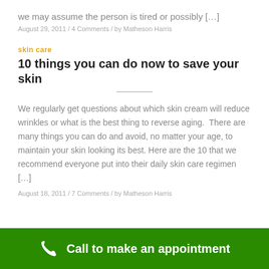we may assume the person is tired or possibly […]
August 29, 2011  /  4 Comments  /  by Matheson Harris
skin care
10 things you can do now to save your skin
We regularly get questions about which skin cream will reduce wrinkles or what is the best thing to reverse aging.  There are many things you can do and avoid, no matter your age, to maintain your skin looking its best. Here are the 10 that we recommend everyone put into their daily skin care regimen […]
August 18, 2011  /  7 Comments  /  by Matheson Harris
Call to make an appointment